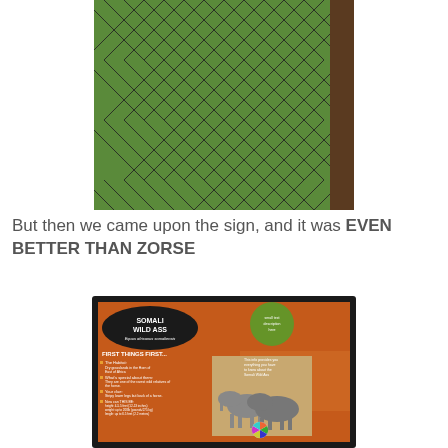[Figure (photo): Chain-link fence with green foliage visible through the diamond-pattern wire mesh, brown wooden post on the right side.]
But then we came upon the sign, and it was EVEN BETTER THAN ZORSE
[Figure (photo): Zoo informational sign for 'Somali Wild Ass' mounted in a dark wooden frame, featuring orange and green panels, text reading 'FIRST THINGS FIRST...' with bullet points, and a photograph of two donkey-like animals (Somali Wild Asses) standing in a sandy enclosure. A color wheel graphic is visible in the lower portion of the sign.]